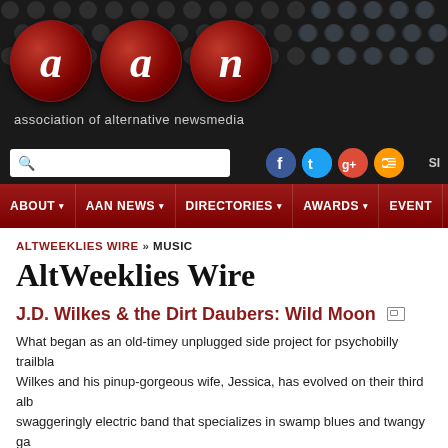[Figure (logo): AAN - Association of Alternative Newsmedia logo with three dark red circular buttons showing stylized italic letters a, a, n on a dark background with polka dot pattern]
association of alternative newsmedia
[Figure (screenshot): Navigation bar with search box and social media icons (Facebook, Twitter, Google+, RSS)]
ABOUT | AAN NEWS | DIRECTORIES | AWARDS | EVENTS
ALTWEEKLIES WIRE » MUSIC
AltWeeklies Wire
J.D. Wilkes & the Dirt Daubers: Wild Moon
What began as an old-timey unplugged side project for psychobilly trailbla... Wilkes and his pinup-gorgeous wife, Jessica, has evolved on their third alb... swaggeringly electric band that specializes in swamp blues and twangy ga... Fans of Wilkes' Legendary Shack Shakers will appreciate the after-midnig...